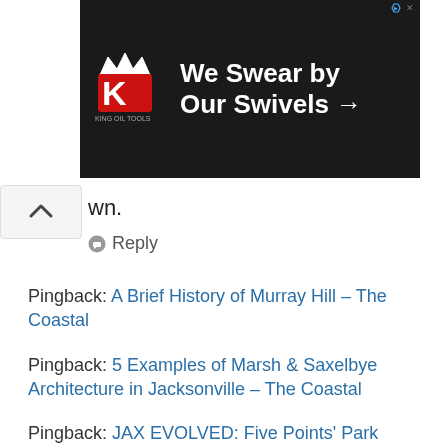[Figure (photo): Advertisement banner for King Oil Tools: 'We Swear by Our Swivels →' with logo on dark background]
own.
Reply
Pingback: A Brief History of Murray Hill – The Coastal
Pingback: 5 Examples of Marsh & Saxelbye Architecture in Jacksonville – The Coastal
Pingback: JAX EVOLVED: Five Points' Park Arcade Building – The Coastal
Pingback: Seven Bridges: Fuller Warren Bridge – The Coastal
Pingback: The Seven Bridges of Jacksonville, FL – The Coastal